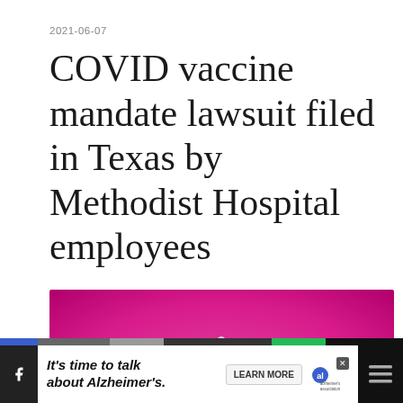2021-06-07
COVID vaccine mandate lawsuit filed in Texas by Methodist Hospital employees
[Figure (photo): Close-up photo of a glass vial/ampoule against a vibrant pink/magenta background, suggesting a vaccine or medical liquid container.]
It's time to talk about Alzheimer's.
0